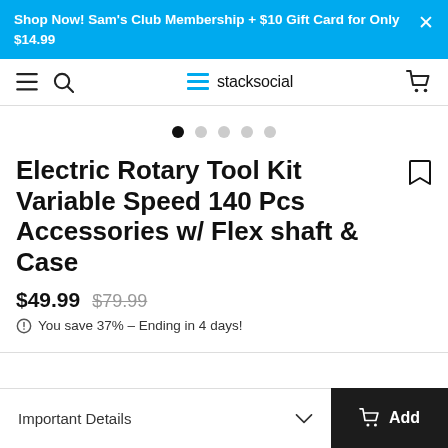Shop Now! Sam's Club Membership + $10 Gift Card for Only $14.99
[Figure (screenshot): StackSocial navigation bar with hamburger menu, search icon, StackSocial logo, and shopping cart icon]
[Figure (other): Image carousel dots indicator: 5 dots, first one active (black), rest grey]
Electric Rotary Tool Kit Variable Speed 140 Pcs Accessories w/ Flex shaft & Case
$49.99  $79.99
You save 37% – Ending in 4 days!
Important Details